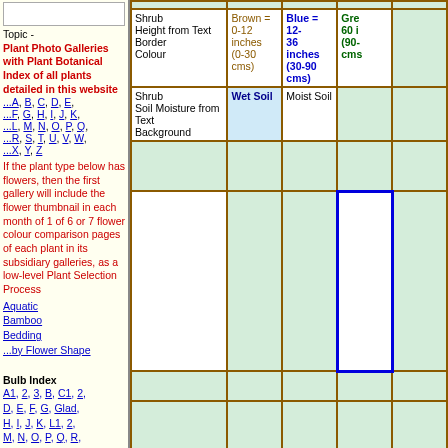[Figure (other): Small image box placeholder in sidebar]
Topic -
Plant Photo Galleries with Plant Botanical Index of all plants detailed in this website
...A, B, C, D, E, ...F, G, H, I, J, K, ...L, M, N, O, P, Q, ...R, S, T, U, V, W, ...X, Y, Z
If the plant type below has flowers, then the first gallery will include the flower thumbnail in each month of 1 of 6 or 7 flower colour comparison pages of each plant in its subsidiary galleries, as a low-level Plant Selection Process
Aquatic
Bamboo
Bedding
...by Flower Shape
Bulb Index
A1, 2, 3, B, C1, 2, D, E, F, G, Glad, H, I, J, K, L1, 2, M, N, O, P, Q, R, S, T, U, V, W, XYZ
...Allium/ Anemone
...Autumn
...Colchicum/ Crocus
...Dahlia
|  | Brown = 0-12 inches (0-30 cms) | Blue = 12-36 inches (30-90 cms) | Gre... 60 i... (90- cms... |
| --- | --- | --- | --- |
| Shrub
Height from Text Border
Colour | Brown = 0-12 inches (0-30 cms) | Blue = 12-36 inches (30-90 cms) | Gre... 60 i... (90-cms... |
| Shrub
Soil Moisture from Text
Background | Wet Soil | Moist Soil |  |
|  |  |  |  |
| [white cell] |  |  | [blue outline cell] |
|  |  |  |  |